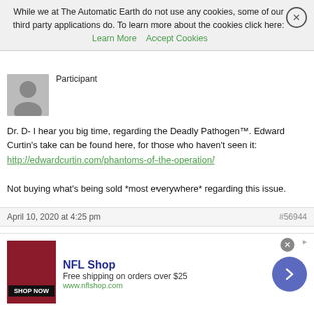While we at The Automatic Earth do not use any cookies, some of our third party applications do. To learn more about the cookies click here: Learn More  Accept Cookies
Participant
Dr. D- I hear you big time, regarding the Deadly Pathogen™. Edward Curtin's take can be found here, for those who haven't seen it: http://edwardcurtin.com/phantoms-of-the-operation/

Not buying what's being sold *most everywhere* regarding this issue.
April 10, 2020 at 4:25 pm  #56944
zerosum
Participant
NFL Shop
Free shipping on orders over $25
www.nflshop.com